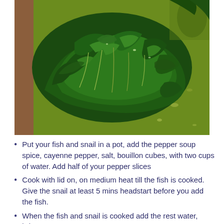[Figure (photo): Close-up photo of chopped dark green leafy vegetables (possibly waterleaf or similar greens) on a green cutting board surface]
Put your fish and snail in a pot, add the pepper soup spice, cayenne pepper, salt, bouillon cubes, with two cups of water. Add half of your pepper slices
Cook with lid on, on medium heat till the fish is cooked. Give the snail at least 5 mins headstart before you add the fish.
When the fish and snail is cooked add the rest water, bring to